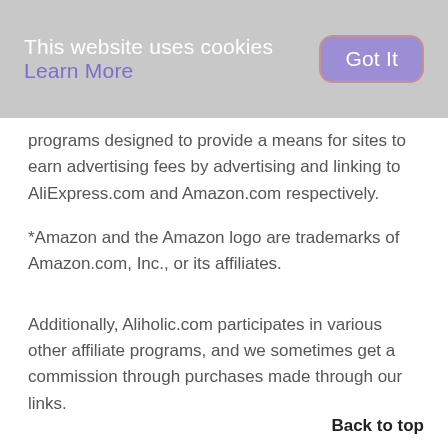This website uses cookies Learn More  Got It
programs designed to provide a means for sites to earn advertising fees by advertising and linking to AliExpress.com and Amazon.com respectively.
*Amazon and the Amazon logo are trademarks of Amazon.com, Inc., or its affiliates.
Additionally, Aliholic.com participates in various other affiliate programs, and we sometimes get a commission through purchases made through our links.
Privacy policy
Back to top